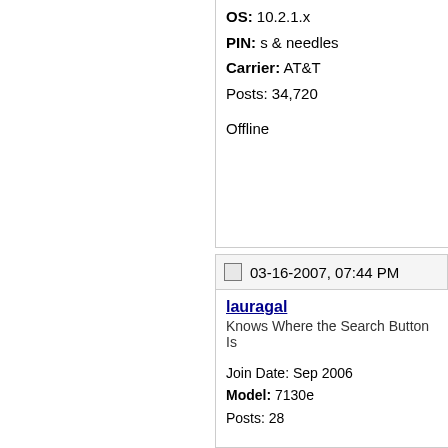OS: 10.2.1.x
PIN: s & needles
Carrier: AT&T
Posts: 34,720

Offline
03-16-2007, 07:44 PM
lauragal
Knows Where the Search Button Is

Join Date: Sep 2006
Model: 7130e
Posts: 28
John,

OMG - [truncated] with a te[truncated] with som[truncated]

If I follo[truncated] I'm using[truncated]

I'm prett[truncated]

Thanks - [truncated] instructio[truncated]

Laura